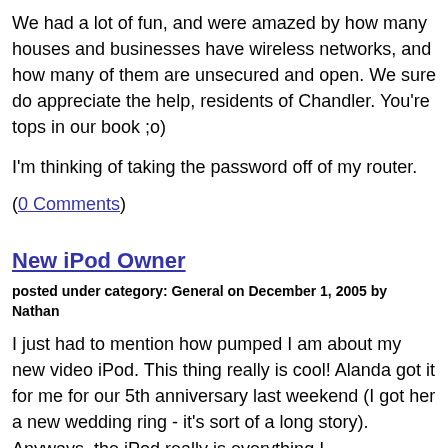We had a lot of fun, and were amazed by how many houses and businesses have wireless networks, and how many of them are unsecured and open. We sure do appreciate the help, residents of Chandler. You're tops in our book ;o)
I'm thinking of taking the password off of my router.
(0 Comments)
New iPod Owner
posted under category: General on December 1, 2005 by Nathan
I just had to mention how pumped I am about my new video iPod. This thing really is cool! Alanda got it for me for our 5th anniversary last weekend (I got her a new wedding ring - it's sort of a long story). Anyways, the iPod really is everything I